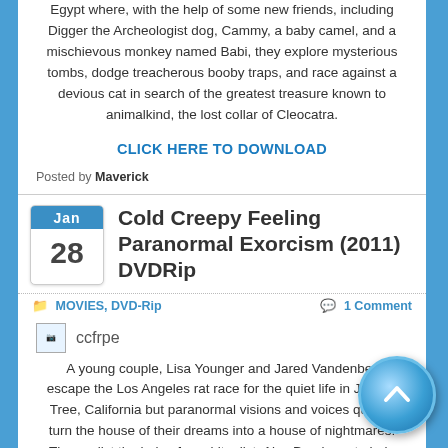Egypt where, with the help of some new friends, including Digger the Archeologist dog, Cammy, a baby camel, and a mischievous monkey named Babi, they explore mysterious tombs, dodge treacherous booby traps, and race against a devious cat in search of the greatest treasure known to animalkind, the lost collar of Cleocatra.
CLICK HERE TO DOWNLOAD
Posted by Maverick
Cold Creepy Feeling Paranormal Exorcism (2011) DVDRip
MOVIES, DVD-Rip    1 Comment
[Figure (other): Broken image placeholder with label ccfrpe]
A young couple, Lisa Younger and Jared Vandenberg, escape the Los Angeles rat race for the quiet life in Joshua Tree, California but paranormal visions and voices quickly turn the house of their dreams into a house of nightmares. They enlist the help of a spiritualist, Alex Damiano, to help exorcise the premises but this only awakens and angers the demonic presence that lurks within. When the town Sherriff, Dennis Woodruff, becomes involved, he discovers that another family mysteriously disappeared 10 years earlier without a trace and he also becomes entangled in the web of evil horror.